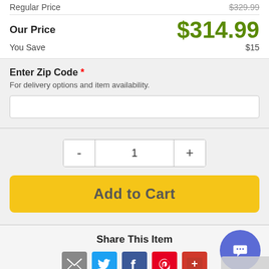Regular Price $329.99
Our Price $314.99
You Save $15
Enter Zip Code * For delivery options and item availability.
1
Add to Cart
Share This Item